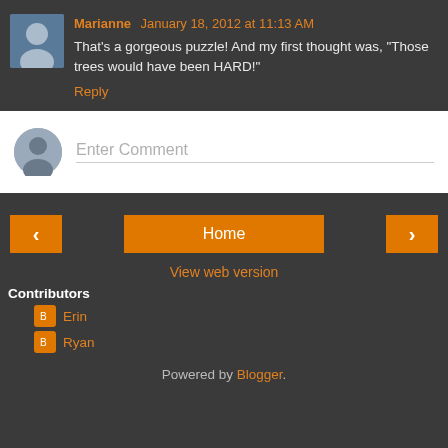Marianne January 18, 2012 at 11:13 AM
That's a gorgeous puzzle! And my first thought was, "Those trees would have been HARD!"
Reply
[Figure (other): Comment input box with default avatar silhouette and Enter Comment placeholder text]
[Figure (other): Navigation buttons: left arrow, Home, right arrow]
View web version
Contributors
Erin
Ryan
Powered by Blogger.